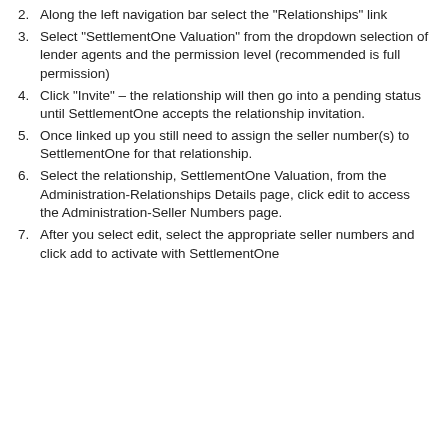2. Along the left navigation bar select the "Relationships" link
3. Select "SettlementOne Valuation" from the dropdown selection of lender agents and the permission level (recommended is full permission)
4. Click "Invite" – the relationship will then go into a pending status until SettlementOne accepts the relationship invitation.
5. Once linked up you still need to assign the seller number(s) to SettlementOne for that relationship.
6. Select the relationship, SettlementOne Valuation, from the Administration-Relationships Details page, click edit to access the Administration-Seller Numbers page.
7. After you select edit, select the appropriate seller numbers and click add to activate with SettlementOne